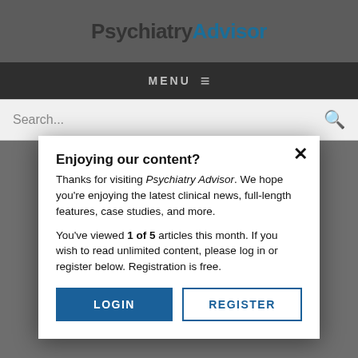PsychiatryAdvisor
MENU
Search...
Enjoying our content?
Thanks for visiting Psychiatry Advisor. We hope you're enjoying the latest clinical news, full-length features, case studies, and more.
You've viewed 1 of 5 articles this month. If you wish to read unlimited content, please log in or register below. Registration is free.
LOGIN
REGISTER